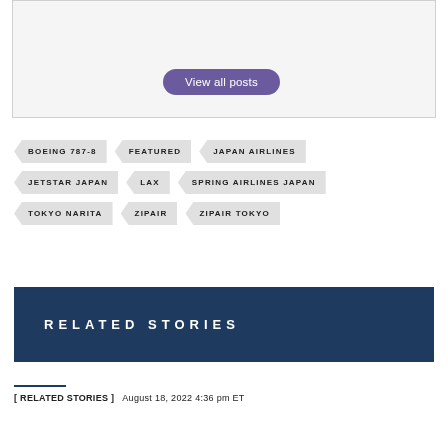[Figure (other): Card/box area with a purple 'View all posts' button]
BOEING 787-8
FEATURED
JAPAN AIRLINES
JETSTAR JAPAN
LAX
SPRING AIRLINES JAPAN
TOKYO NARITA
ZIPAIR
ZIPAIR TOKYO
RELATED STORIES
[ RELATED STORIES ]   August 18, 2022 4:36 pm ET